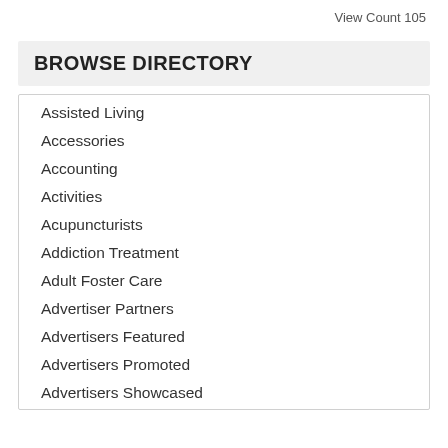View Count 105
BROWSE DIRECTORY
Assisted Living
Accessories
Accounting
Activities
Acupuncturists
Addiction Treatment
Adult Foster Care
Advertiser Partners
Advertisers Featured
Advertisers Promoted
Advertisers Showcased